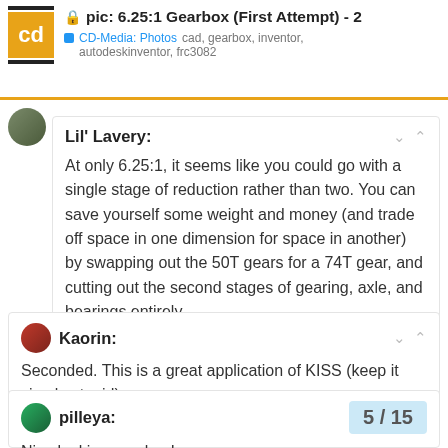pic: 6.25:1 Gearbox (First Attempt) - 2 | CD-Media: Photos  cad, gearbox, inventor, autodeskinventor, frc3082
Lil' Lavery:
At only 6.25:1, it seems like you could go with a single stage of reduction rather than two. You can save yourself some weight and money (and trade off space in one dimension for space in another) by swapping out the 50T gears for a 74T gear, and cutting out the second stages of gearing, axle, and bearings entirely.
Kaorin:
Seconded. This is a great application of KISS (keep it simple stupid)
pilleya:
Nice looking gearbox!